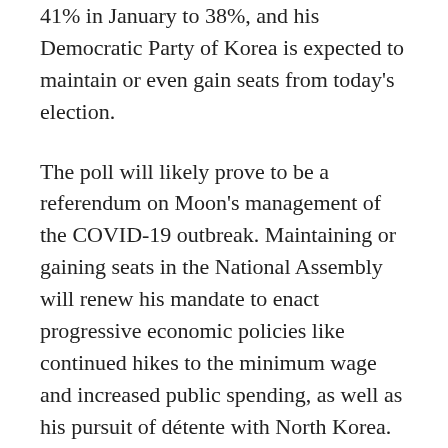41% in January to 38%, and his Democratic Party of Korea is expected to maintain or even gain seats from today's election.
The poll will likely prove to be a referendum on Moon's management of the COVID-19 outbreak. Maintaining or gaining seats in the National Assembly will renew his mandate to enact progressive economic policies like continued hikes to the minimum wage and increased public spending, as well as his pursuit of détente with North Korea. As elections in other countries are held in the coming months, the government response to COVID-19 is likely to inform voter choices in a